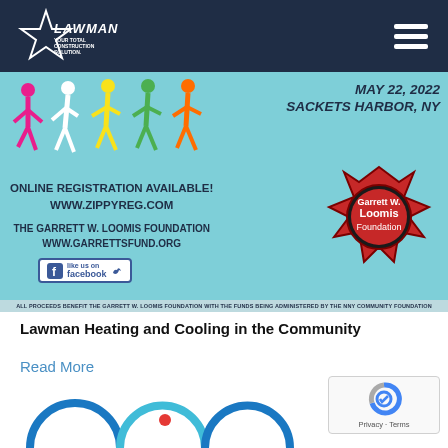[Figure (logo): Lawman Your Total Construction Solution logo — white star with text on dark navy navbar]
[Figure (infographic): Garrett W. Loomis Foundation 5K event banner: colorful runner silhouettes, date May 22, 2022, Sackets Harbor NY, online registration at www.zippyreg.com, foundation logo badge, Facebook link, disclaimer strip at bottom]
Lawman Heating and Cooling in the Community
Read More
[Figure (other): reCAPTCHA Privacy Terms badge, bottom right corner]
[Figure (other): Partial decorative arc shapes at bottom of page]